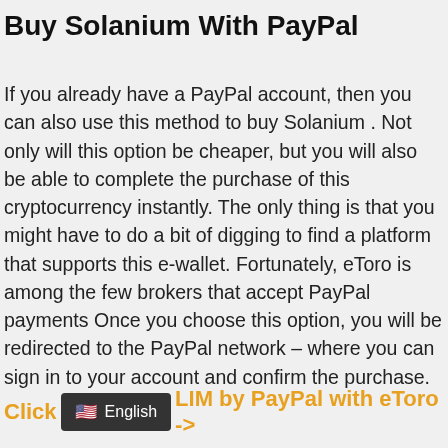Buy Solanium With PayPal
If you already have a PayPal account, then you can also use this method to buy Solanium . Not only will this option be cheaper, but you will also be able to complete the purchase of this cryptocurrency instantly. The only thing is that you might have to do a bit of digging to find a platform that supports this e-wallet. Fortunately, eToro is among the few brokers that accept PayPal payments Once you choose this option, you will be redirected to the PayPal network – where you can sign in to your account and confirm the purchase.
Click  🇺🇸 English  LIM by PayPal with eToro ->